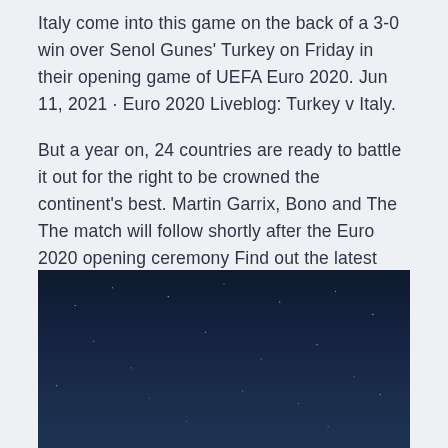Italy come into this game on the back of a 3-0 win over Senol Gunes' Turkey on Friday in their opening game of UEFA Euro 2020. Jun 11, 2021 · Euro 2020 Liveblog: Turkey v Italy.
But a year on, 24 countries are ready to battle it out for the right to be crowned the continent's best. Martin Garrix, Bono and The The match will follow shortly after the Euro 2020 opening ceremony Find out the latest Euro 2020 news including fixtures, live action and results here.
[Figure (photo): Night sky photograph showing a dark blue starry sky with numerous small white stars scattered across the frame.]